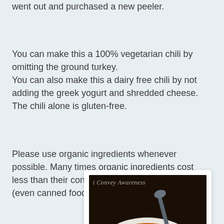went out and purchased a new peeler.
You can make this a 100% vegetarian chili by omitting the ground turkey.
You can also make this a dairy free chili by not adding the greek yogurt and shredded cheese. The chili alone is gluten-free.
Please use organic ingredients whenever possible. Many times organic ingredients cost less than their conventionally grown counterparts (even canned foods).
[Figure (photo): Bowl of chili topped with sour cream, shredded cheese, and avocado slices, with a spoon. Watermark reads 'i Convey Awareness'.]